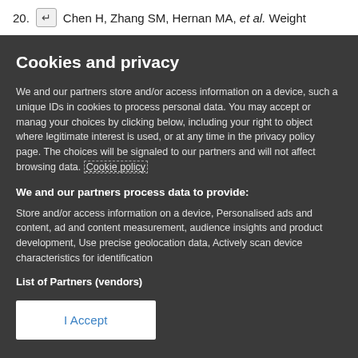20. [return icon] Chen H, Zhang SM, Hernan MA, et al. Weight
Cookies and privacy
We and our partners store and/or access information on a device, such as unique IDs in cookies to process personal data. You may accept or manage your choices by clicking below, including your right to object where legitimate interest is used, or at any time in the privacy policy page. These choices will be signaled to our partners and will not affect browsing data. Cookie policy
We and our partners process data to provide:
Store and/or access information on a device, Personalised ads and content, ad and content measurement, audience insights and product development, Use precise geolocation data, Actively scan device characteristics for identification
List of Partners (vendors)
I Accept